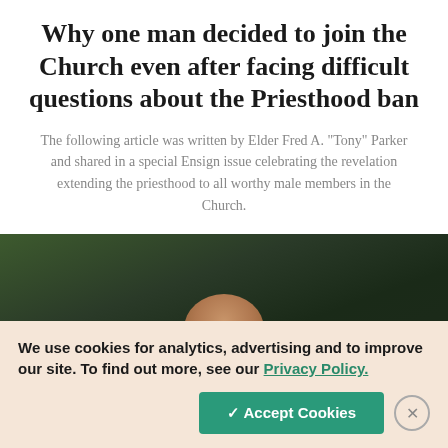Why one man decided to join the Church even after facing difficult questions about the Priesthood ban
The following article was written by Elder Fred A. “Tony” Parker and shared in a special Ensign issue celebrating the revelation extending the priesthood to all worthy male members in the Church.
[Figure (photo): Partial view of a person's head outdoors with green foliage in the background]
We use cookies for analytics, advertising and to improve our site. To find out more, see our Privacy Policy.